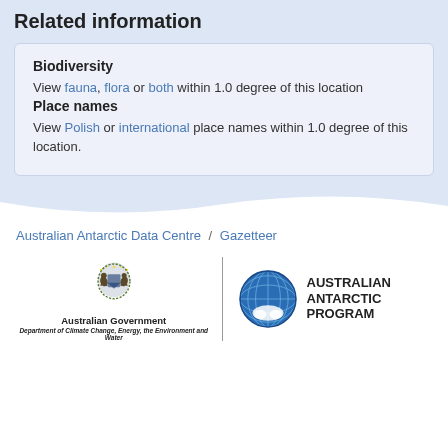Related information
Biodiversity
View fauna, flora or both within 1.0 degree of this location
Place names
View Polish or international place names within 1.0 degree of this location.
Australian Antarctic Data Centre / Gazetteer
[Figure (logo): Australian Government crest with text 'Australian Government' and 'Department of Climate Change, Energy, the Environment and Water']
[Figure (logo): Australian Antarctic Program logo — globe graphic with text AUSTRALIAN ANTARCTIC PROGRAM]